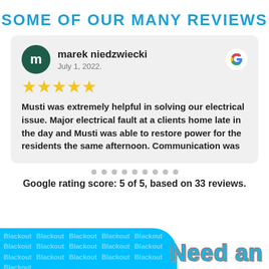SOME OF OUR MANY REVIEWS
marek niedzwiecki
July 1, 2022.
★★★★★
Musti was extremely helpful in solving our electrical issue. Major electrical fault at a clients home late in the day and Musti was able to restore power for the residents the same afternoon. Communication was
Google rating score: 5 of 5, based on 33 reviews.
[Figure (infographic): Bottom banner with light blue background on left side containing repeated 'Blackout' watermark text, and 'Need an' text in cyan with outline on the right side.]